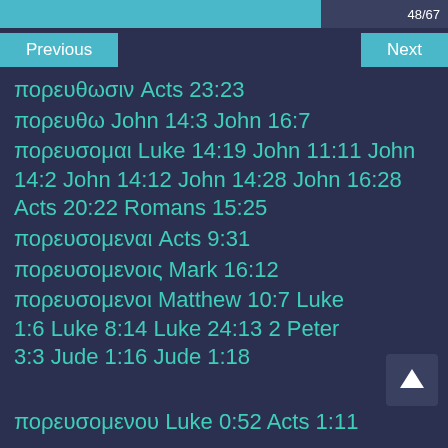48/67
πορευθωσιν Acts 23:23
πορευθω John 14:3 John 16:7
πορευσομαι Luke 14:19 John 11:11 John 14:2 John 14:12 John 14:28 John 16:28 Acts 20:22 Romans 15:25
πορευσομεναι Acts 9:31
πορευσομενοις Mark 16:12
πορευσομενοι Matthew 10:7 Luke 1:6 Luke 8:14 Luke 24:13 2 Peter 3:3 Jude 1:16 Jude 1:18
πορευσομενου Luke 0:52 Acts 1:11